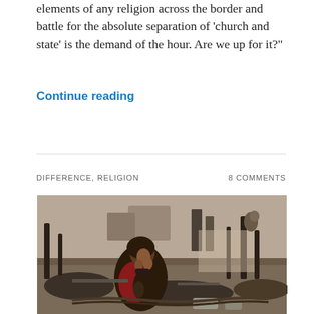elements of any religion across the border and battle for the absolute separation of ‘church and state’ is the demand of the hour. Are we up for it?”
Continue reading
DIFFERENCE, RELIGION
8 COMMENTS
[Figure (photo): A woman in a red and black printed shawl sits distressed among burnt debris and ruins, surrounded by charred wood, scattered ash, and overturned metal cans.]